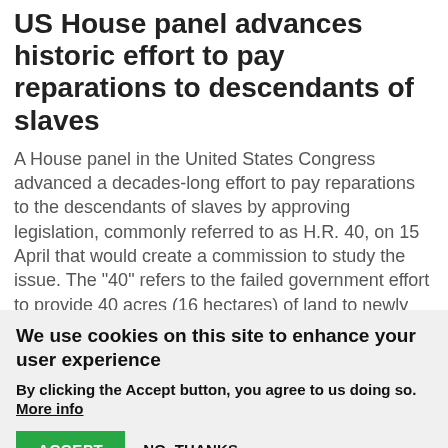US House panel advances historic effort to pay reparations to descendants of slaves
A House panel in the United States Congress advanced a decades-long effort to pay reparations to the descendants of slaves by approving legislation, commonly referred to as H.R. 40, on 15 April that would create a commission to study the issue. The “40” refers to the failed government effort to provide 40 acres (16 hectares) of land to newly freed slaves as the Civil War drew to a close. It's the first time the House Judiciary Committee has acted on the legislation.
We use cookies on this site to enhance your user experience
By clicking the Accept button, you agree to us doing so. More info
ACCEPT  NO, THANKS